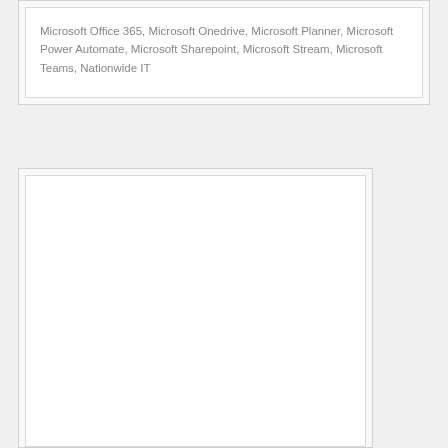Microsoft Office 365, Microsoft Onedrive, Microsoft Planner, Microsoft Power Automate, Microsoft Sharepoint, Microsoft Stream, Microsoft Teams, Nationwide IT
[Figure (other): Empty white box placeholder region at the bottom of the page]